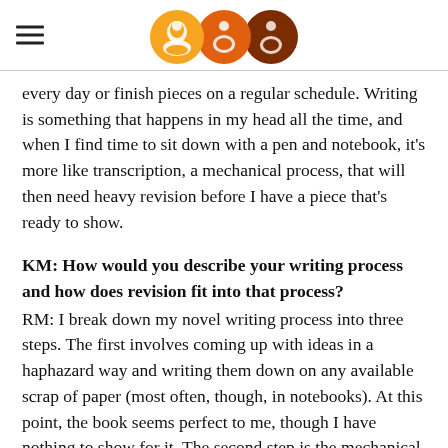[Logo with three circular icons and hamburger menu]
every day or finish pieces on a regular schedule. Writing is something that happens in my head all the time, and when I find time to sit down with a pen and notebook, it's more like transcription, a mechanical process, that will then need heavy revision before I have a piece that's ready to show.
KM: How would you describe your writing process and how does revision fit into that process? RM: I break down my novel writing process into three steps. The first involves coming up with ideas in a haphazard way and writing them down on any available scrap of paper (most often, though, in notebooks). At this point, the book seems perfect to me, though I have nothing to show for it. The second step is the mechanical typing of ideas into the form of something that looks like a novel. For me, this is a painful and boring process, and then there is a long process of revision that...